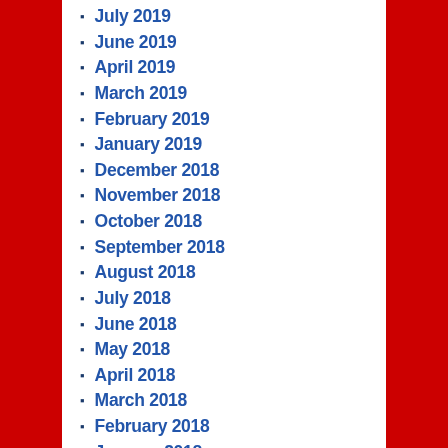July 2019
June 2019
April 2019
March 2019
February 2019
January 2019
December 2018
November 2018
October 2018
September 2018
August 2018
July 2018
June 2018
May 2018
April 2018
March 2018
February 2018
January 2018
December 2017
November 2017
October 2017